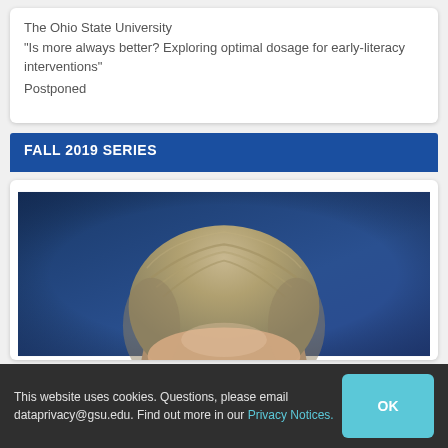The Ohio State University
“Is more always better? Exploring optimal dosage for early-literacy interventions”
Postponed
FALL 2019 SERIES
[Figure (photo): Headshot photo of a person with gray-blonde hair against a blue background, cropped at forehead level.]
This website uses cookies. Questions, please email dataprivacy@gsu.edu. Find out more in our Privacy Notices.